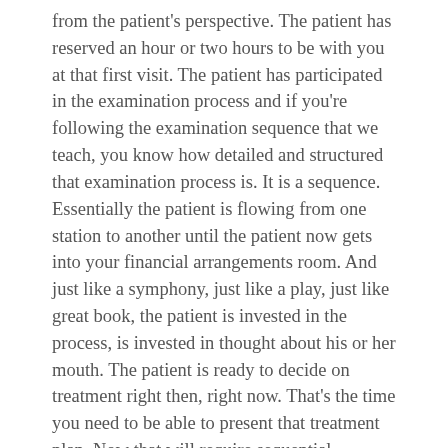from the patient's perspective. The patient has reserved an hour or two hours to be with you at that first visit. The patient has participated in the examination process and if you're following the examination sequence that we teach, you know how detailed and structured that examination process is. It is a sequence. Essentially the patient is flowing from one station to another until the patient now gets into your financial arrangements room. And just like a symphony, just like a play, just like great book, the patient is invested in the process, is invested in thought about his or her mouth. The patient is ready to decide on treatment right then, right now. That's the time you need to be able to present that treatment plan. Now that will require sequential thinking on your part. It may require some pre-agreements with the referring dentist that if you identify restorative dentistry, then you can present that. Most general dentists will be grateful that you